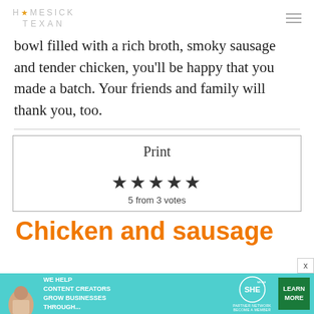HOMESICK TEXAN
bowl filled with a rich broth, smoky sausage and tender chicken, you'll be happy that you made a batch. Your friends and family will thank you, too.
Print
5 from 3 votes
Chicken and sausage
[Figure (screenshot): SHE Media partner network advertisement banner]